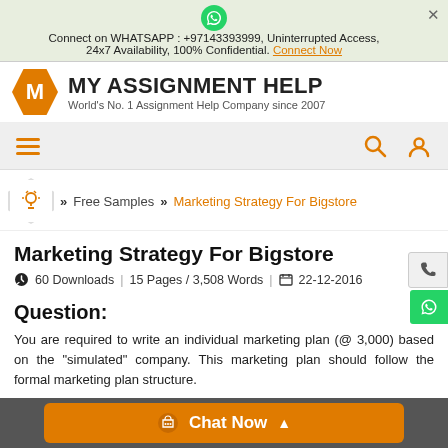Connect on WHATSAPP : +97143393999, Uninterrupted Access, 24x7 Availability, 100% Confidential. Connect Now
[Figure (logo): MY ASSIGNMENT HELP logo with hexagonal M icon. Tagline: World's No. 1 Assignment Help Company since 2007]
[Figure (screenshot): Navigation bar with hamburger menu, search icon, and user icon in orange]
Free Samples >> Marketing Strategy For Bigstore
Marketing Strategy For Bigstore
60 Downloads | 15 Pages / 3,508 Words | 22-12-2016
Question:
You are required to write an individual marketing plan (@ 3,000) based on the "simulated" company. This marketing plan should follow the formal marketing plan structure.